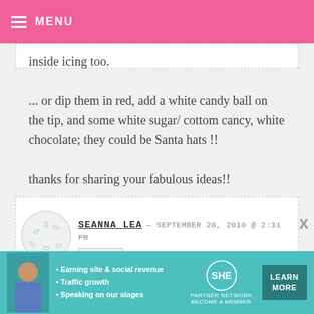MENU
inside icing too.

... or dip them in red, add a white candy ball on the tip, and some white sugar/ cottom cancy, white chocolate; they could be Santa hats !!

thanks for sharing your fabulous ideas!!
SEANNA LEA — SEPTEMBER 20, 2010 @ 2:31 PM
REPLY
[Figure (other): Advertisement banner for SHE Partner Network with bullets: Earning site & social revenue, Traffic growth, Speaking on our stages. Includes LEARN MORE button.]